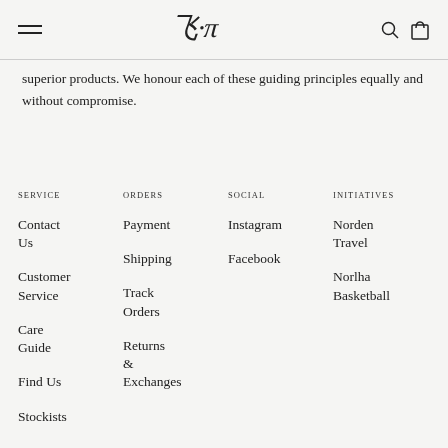≡  [logo]  🔍 🛍
superior products. We honour each of these guiding principles equally and without compromise.
SERVICE: Contact Us, Customer Service, Care Guide, Find Us, Stockists
ORDERS: Payment, Shipping, Track Orders, Returns & Exchanges
SOCIAL: Instagram, Facebook
INITIATIVES: Norden Travel, Norlha Basketball